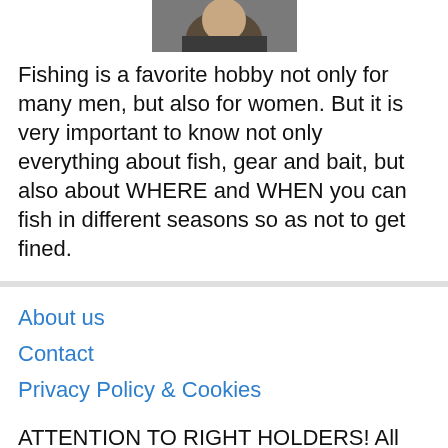[Figure (photo): Partial photo of a person, cropped at top, showing face/shoulders area with dark clothing]
Fishing is a favorite hobby not only for many men, but also for women. But it is very important to know not only everything about fish, gear and bait, but also about WHERE and WHEN you can fish in different seasons so as not to get fined.
About us
Contact
Privacy Policy & Cookies
ATTENTION TO RIGHT HOLDERS! All materials are posted on the site strictly for informational and educational purposes! If